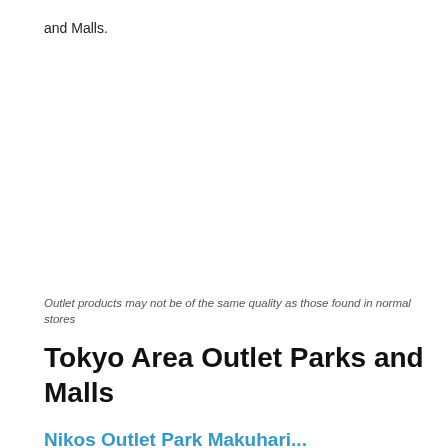and Malls.
Outlet products may not be of the same quality as those found in normal stores
Tokyo Area Outlet Parks and Malls
Nikos Outlet Park Makuhari...